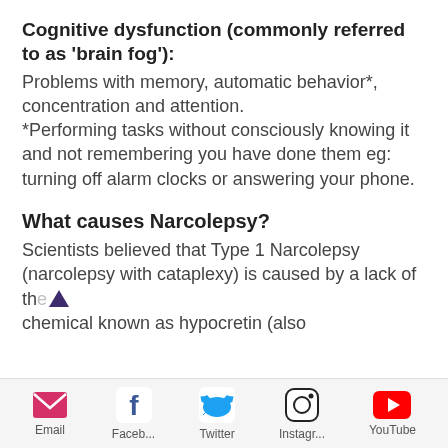Cognitive dysfunction (commonly referred to as 'brain fog'):
Problems with memory, automatic behavior*, concentration and attention.
*Performing tasks without consciously knowing it and not remembering you have done them eg: turning off alarm clocks or answering your phone.
What causes Narcolepsy?
Scientists believed that Type 1 Narcolepsy (narcolepsy with cataplexy) is caused by a lack of the chemical known as hypocretin (also
Email  Faceb...  Twitter  Instagr...  YouTube